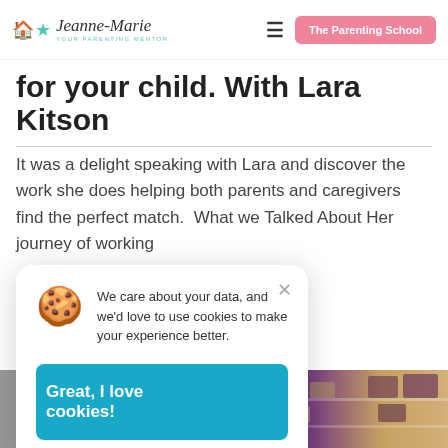Jeanne-Marie — Your Parenting Mentor | The Parenting School
for your child. With Lara Kitson
It was a delight speaking with Lara and discover the work she does helping both parents and caregivers find the perfect match.  What we Talked About Her journey of working
We care about your data, and we'd love to use cookies to make your experience better.
Great, I love cookies!
[Figure (photo): Photo of food items on shelves, partially visible at bottom right of the page]